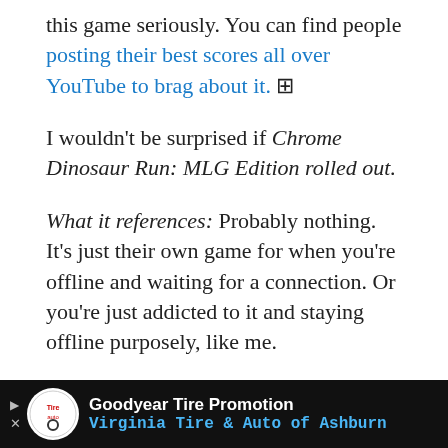this game seriously. You can find people posting their best scores all over YouTube to brag about it.
I wouldn't be surprised if Chrome Dinosaur Run: MLG Edition rolled out.
What it references: Probably nothing. It's just their own game for when you're offline and waiting for a connection. Or you're just addicted to it and staying offline purposely, like me.
In fact, it's so fun that I wrote a whole post about how to play the Chrome dinosaur game.
Atari, anyone?
[Figure (other): Advertisement bar for Goodyear Tire Promotion - Virginia Tire & Auto of Ashburn]